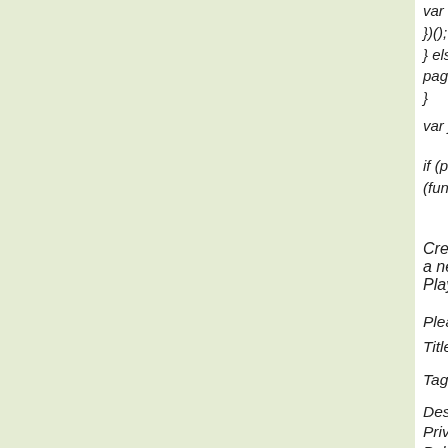var s = document.getElementsByTagName('s...
})();
} else {
page_params.jqueryVersion = 'http://cdn1b.st...
}
var jsFileList = {};
if (page_params.isOldIE === true || typeof win...
(function(n,t){"use strict";function w(){}function...
Create a new Playlist
Please enter the required information
Title*:
Tags*:
Description:
Privacy*:
Public